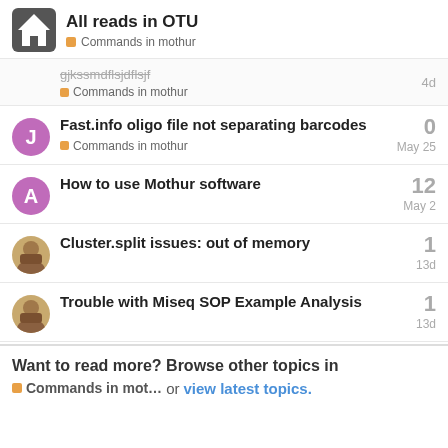All reads in OTU — Commands in mothur
Commands in mothur — 4d
Fast.info oligo file not separating barcodes
Commands in mothur — May 25
How to use Mothur software
May 2 — 12
Cluster.split issues: out of memory
13d — 1
Trouble with Miseq SOP Example Analysis
13d — 1
Want to read more? Browse other topics in Commands in mot… or view latest topics.